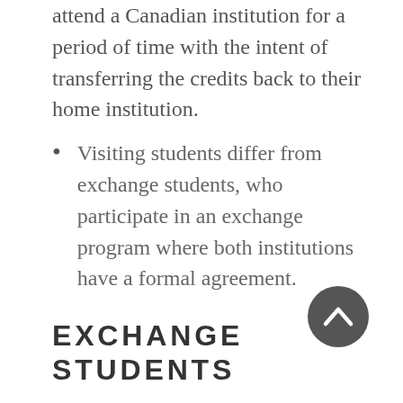attend a Canadian institution for a period of time with the intent of transferring the credits back to their home institution.
Visiting students differ from exchange students, who participate in an exchange program where both institutions have a formal agreement.
EXCHANGE STUDENTS
Exchange students study in Canada under the same conditions as visiting students, however, they are not required to